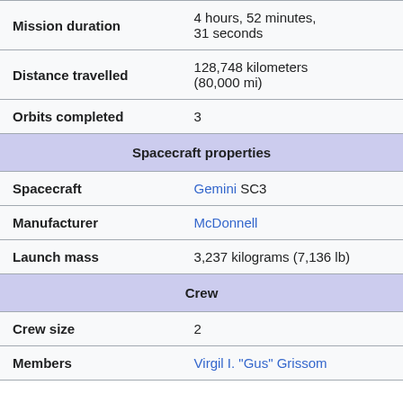| Property | Value |
| --- | --- |
| Mission duration | 4 hours, 52 minutes, 31 seconds |
| Distance travelled | 128,748 kilometers (80,000 mi) |
| Orbits completed | 3 |
| Spacecraft properties |  |
| Spacecraft | Gemini SC3 |
| Manufacturer | McDonnell |
| Launch mass | 3,237 kilograms (7,136 lb) |
| Crew |  |
| Crew size | 2 |
| Members | Virgil I. "Gus" Grissom |